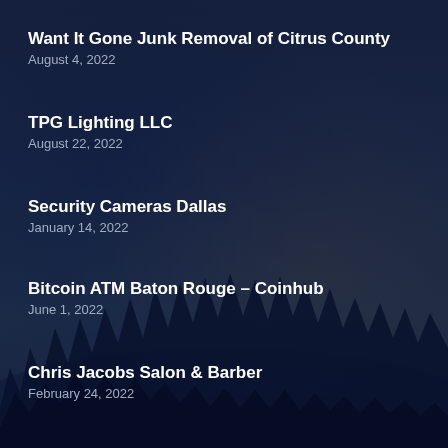Want It Gone Junk Removal of Citrus County
August 4, 2022
TPG Lighting LLC
August 22, 2022
Security Cameras Dallas
January 14, 2022
Bitcoin ATM Baton Rouge – Coinhub
June 1, 2022
Chris Jacobs Salon & Barber
February 24, 2022